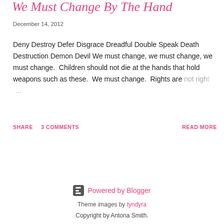We Must Change By The Hand
December 14, 2012
Deny Destroy Defer Disgrace Dreadful Double Speak Death Destruction Demon Devil We must change, we must change, we must change.  Children should not die at the hands that hold weapons such as these.  We must change.  Rights are not right …
SHARE   3 COMMENTS   READ MORE
Powered by Blogger
Theme images by tyndyra
Copyright by Antona Smith.